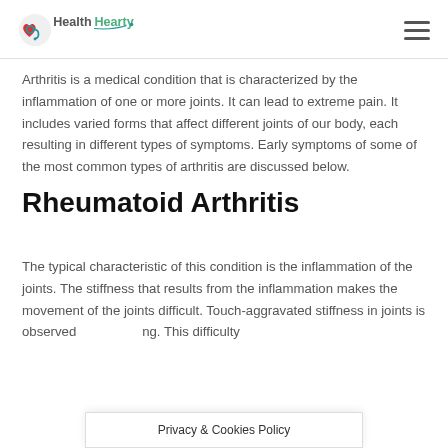HealthHearty
Arthritis is a medical condition that is characterized by the inflammation of one or more joints. It can lead to extreme pain. It includes varied forms that affect different joints of our body, each resulting in different types of symptoms. Early symptoms of some of the most common types of arthritis are discussed below.
Rheumatoid Arthritis
The typical characteristic of this condition is the inflammation of the joints. The stiffness that results from the inflammation makes the movement of the joints difficult. Touch-aggravated stiffness in joints is observed morning. This difficulty
Privacy & Cookies Policy